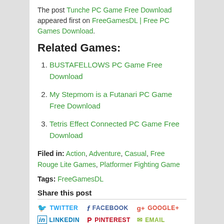The post Tunche PC Game Free Download appeared first on FreeGamesDL | Free PC Games Download.
Related Games:
BUSTAFELLOWS PC Game Free Download
My Stepmom is a Futanari PC Game Free Download
Tetris Effect Connected PC Game Free Download
Filed in: Action, Adventure, Casual, Free Rouge Lite Games, Platformer Fighting Game
Tags: FreeGamesDL
Share this post
TWITTER | FACEBOOK | GOOGLE+ | LINKEDIN | PINTEREST | EMAIL